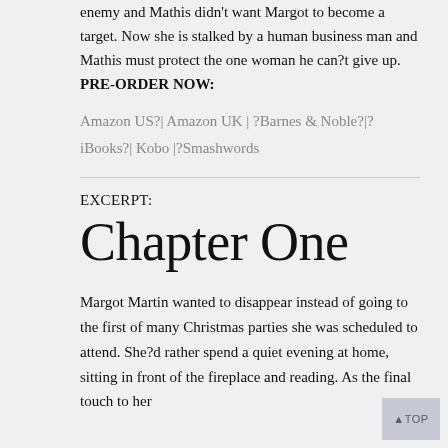enemy and Mathis didn't want Margot to become a target. Now she is stalked by a human business man and Mathis must protect the one woman he can?t give up.
PRE-ORDER NOW:
Amazon US?| Amazon UK | ?Barnes & Noble?|? iBooks?| Kobo |?Smashwords
EXCERPT:
Chapter One
Margot Martin wanted to disappear instead of going to the first of many Christmas parties she was scheduled to attend. She?d rather spend a quiet evening at home, sitting in front of the fireplace and reading. As the final touch to her